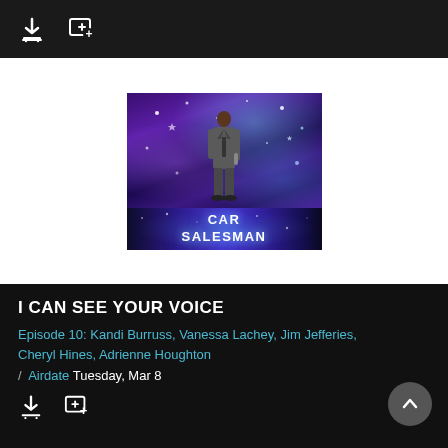Download and Add buttons toolbar
[Figure (photo): Two-panel image: top panel shows a man in a grey suit standing on a stage with purple and blue sparkly bokeh background holding a microphone. Bottom panel shows a dark blue glittery background with white bold text reading 'CAR SALESMAN'.]
I CAN SEE YOUR VOICE
Episode 10: Kandi Burruss, Vanessa Lachey, Jim Jefferies, Cheryl Hines, Adrienne Houghton
/ Airdate Tuesday, Mar 8
Download and Add buttons